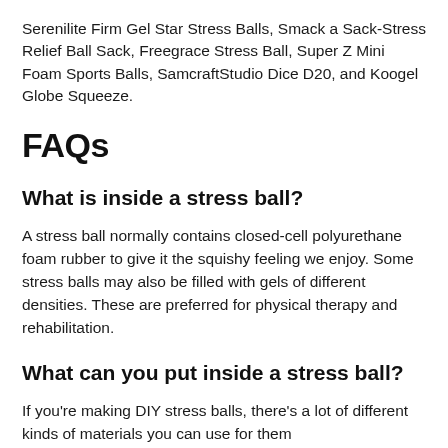Serenilite Firm Gel Star Stress Balls, Smack a Sack-Stress Relief Ball Sack, Freegrace Stress Ball, Super Z Mini Foam Sports Balls, SamcraftStudio Dice D20, and Koogel Globe Squeeze.
FAQs
What is inside a stress ball?
A stress ball normally contains closed-cell polyurethane foam rubber to give it the squishy feeling we enjoy. Some stress balls may also be filled with gels of different densities. These are preferred for physical therapy and rehabilitation.
What can you put inside a stress ball?
If you're making DIY stress balls, there's a lot of different kinds of materials you can use for them